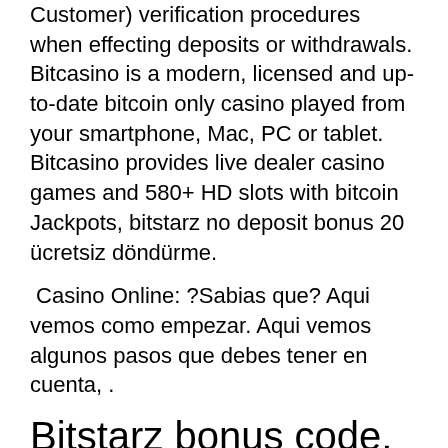Customer) verification procedures when effecting deposits or withdrawals. Bitcasino is a modern, licensed and up-to-date bitcoin only casino played from your smartphone, Mac, PC or tablet. Bitcasino provides live dealer casino games and 580+ HD slots with bitcoin Jackpots, bitstarz no deposit bonus 20 ücretsiz döndürme.
Casino Online: ?Sabias que? Aqui vemos como empezar. Aqui vemos algunos pasos que debes tener en cuenta, .
Bitstarz bonus code, bitstarz the pogg
Financial privacy at a Bitcoin betting site = financial freedom. Freedom to do what you want with your hard-earned money -- since, after all, it is your money. Benefit